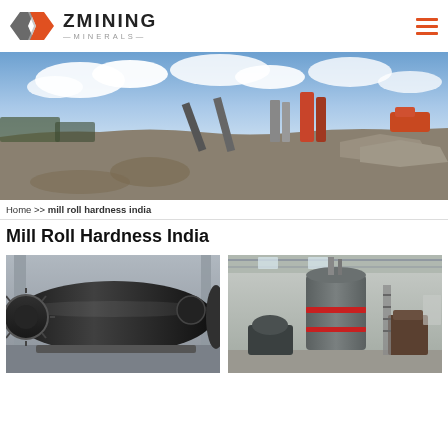[Figure (logo): ZMining Minerals logo with interlocking hexagon shapes in grey and orange]
ZMINING MINERALS
[Figure (photo): Wide panoramic photo of an open-pit mining facility with industrial equipment, conveyors, silos, and rocky terrain under a cloudy sky]
Home >> mill roll hardness india
Mill Roll Hardness India
[Figure (photo): Industrial ball mill machine, large cylindrical black metal drum with gear wheel, inside a factory]
[Figure (photo): Vertical grinding mill machine inside an industrial warehouse, grey tower with red ring accents]